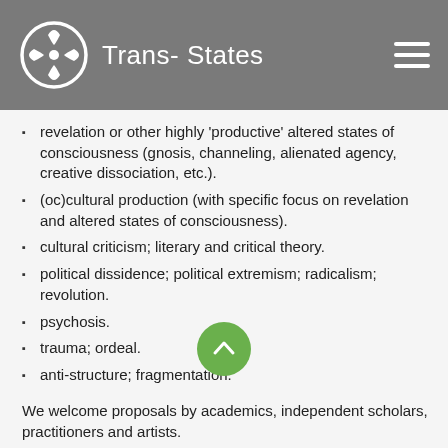Trans- States
revelation or other highly 'productive' altered states of consciousness (gnosis, channeling, alienated agency, creative dissociation, etc.).
(oc)cultural production (with specific focus on revelation and altered states of consciousness).
cultural criticism; literary and critical theory.
political dissidence; political extremism; radicalism; revolution.
psychosis.
trauma; ordeal.
anti-structure; fragmentation.
We welcome proposals by academics, independent scholars, practitioners and artists.
We aim to promote not only the blending of disciplines, but also non-normative approaches to the theme. As such, joint proposals, collaborations, practitioner-based activities, pre-formed panels and performances are very welcome, as well as individual submissions and papers. We also welcome short film